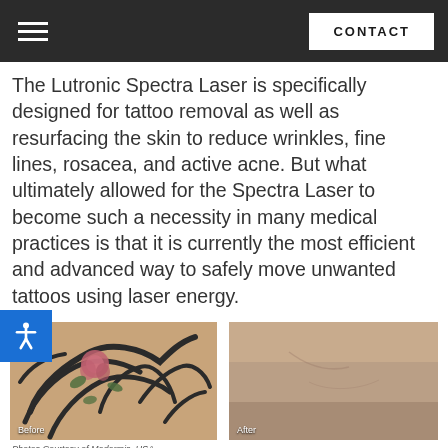CONTACT
The Lutronic Spectra Laser is specifically designed for tattoo removal as well as resurfacing the skin to reduce wrinkles, fine lines, rosacea, and active acne. But what ultimately allowed for the Spectra Laser to become such a necessity in many medical practices is that it is currently the most efficient and advanced way to safely move unwanted tattoos using laser energy.
[Figure (photo): Before and after photos of tattoo removal using Lutronic Spectra Laser. Left image shows a floral and tribal tattoo on skin labeled 'Before'. Right image shows the same area with tattoo nearly removed, labeled 'After'.]
Photos Courtesy of Medermis, USA